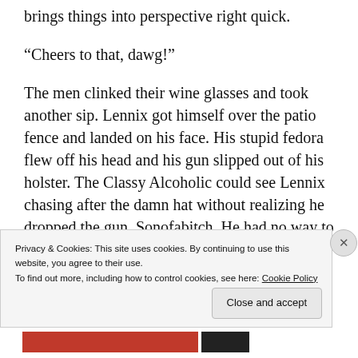brings things into perspective right quick.
“Cheers to that, dawg!”
The men clinked their wine glasses and took another sip. Lennix got himself over the patio fence and landed on his face. His stupid fedora flew off his head and his gun slipped out of his holster. The Classy Alcoholic could see Lennix chasing after the damn hat without realizing he dropped the gun. Sonofabitch. He had no way to warn him he was walking into the tasting
Privacy & Cookies: This site uses cookies. By continuing to use this website, you agree to their use.
To find out more, including how to control cookies, see here: Cookie Policy
Close and accept